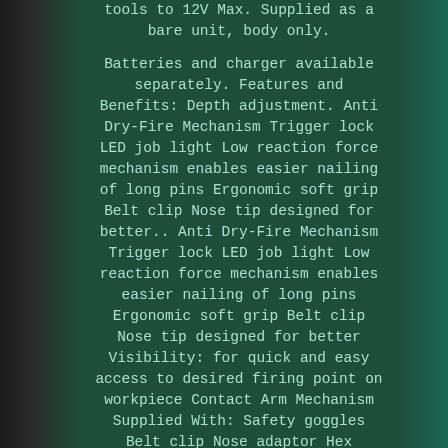tools to 12V Max. Supplied as a bare unit, body only.

Batteries and charger available separately. Features and Benefits: Depth adjustment. Anti Dry-Fire Mechanism Trigger lock LED job light Low reaction force mechanism enables easier nailing of long pins Ergonomic soft grip Belt clip Nose tip designed for better.. Anti Dry-Fire Mechanism Trigger lock LED job light Low reaction force mechanism enables easier nailing of long pins Ergonomic soft grip Belt clip Nose tip designed for better Visibility: for quick and easy access to desired firing point on workpiece Contact Arm Mechanism Supplied With: Safety goggles Belt clip Nose adaptor Hex wrench.